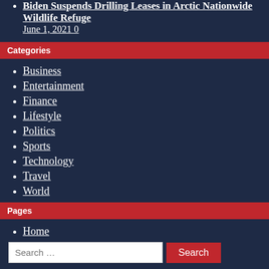Biden Suspends Drilling Leases in Arctic Nationwide Wildlife Refuge
June 1, 2021 0
Categories
Business
Entertainment
Finance
Lifestyle
Politics
Sports
Technology
Travel
World
Pages
Home
Privacy Policy
Terms Of Service
Search …  Search